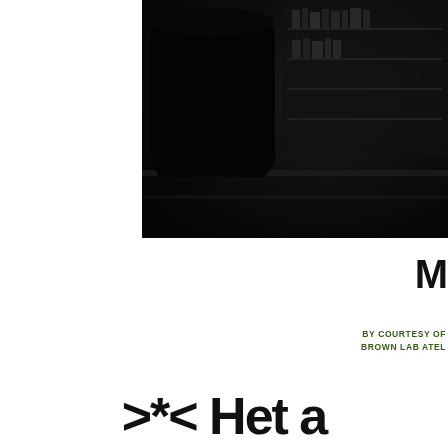[Figure (photo): Dark moody photograph of an office or studio space with a black chair in the foreground and shelving/desk equipment in the background, heavily shadowed]
M
BY COURTESY OF BROWN LAB ATEL
>*< Het a